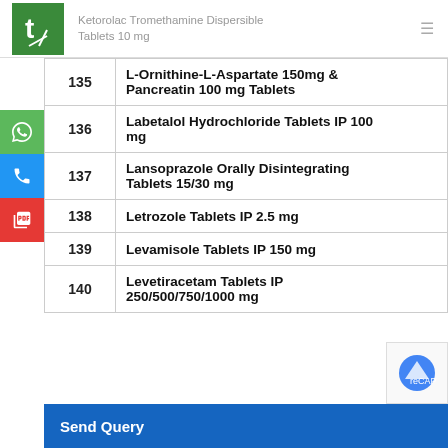Ketorolac Tromethamine Dispersible Tablets 10 mg
| # | Product Name |
| --- | --- |
| 135 | L-Ornithine-L-Aspartate 150mg & Pancreatin 100 mg Tablets |
| 136 | Labetalol Hydrochloride Tablets IP 100 mg |
| 137 | Lansoprazole Orally Disintegrating Tablets 15/30 mg |
| 138 | Letrozole Tablets IP 2.5 mg |
| 139 | Levamisole Tablets IP 150 mg |
| 140 | Levetiracetam Tablets IP 250/500/750/1000 mg |
Send Query